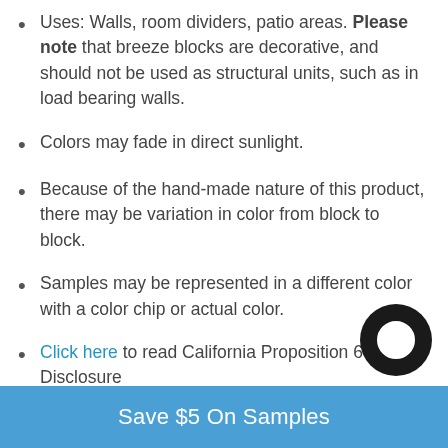Uses: Walls, room dividers, patio areas. Please note that breeze blocks are decorative, and should not be used as structural units, such as in load bearing walls.
Colors may fade in direct sunlight.
Because of the hand-made nature of this product, there may be variation in color from block to block.
Samples may be represented in a different color with a color chip or actual color.
Click here to read California Proposition 65 Disclosure
More Ordering information:
Save $5 On Samples